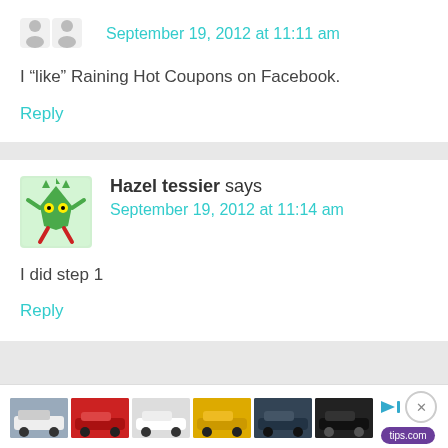September 19, 2012 at 11:11 am
I “like” Raining Hot Coupons on Facebook.
Reply
Hazel tessier says
September 19, 2012 at 11:14 am
I did step 1
Reply
[Figure (other): Advertisement bar with thumbnails of car images and a play button, close button, and logo]